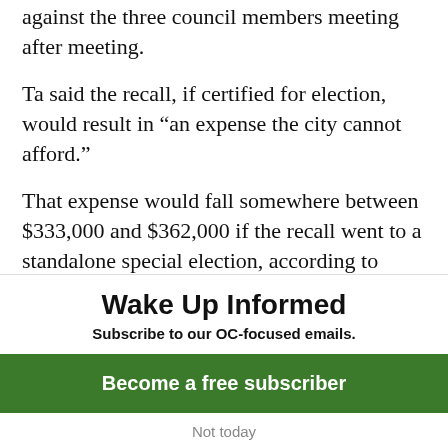against the three council members meeting after meeting.
Ta said the recall, if certified for election, would result in “an expense the city cannot afford.”
That expense would fall somewhere between $333,000 and $362,000 if the recall went to a standalone special election, according to numbers provided by the Orange County Registrar of Voters. A recall
Wake Up Informed
Subscribe to our OC-focused emails.
Become a free subscriber
Not today